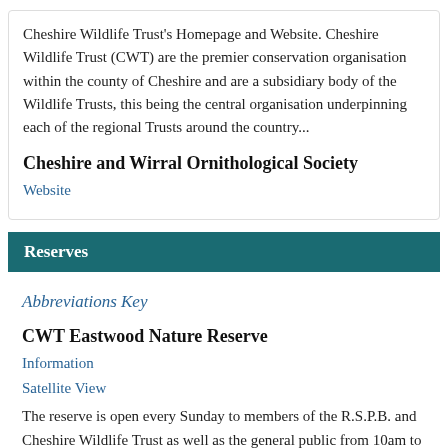Cheshire Wildlife Trust's Homepage and Website. Cheshire Wildlife Trust (CWT) are the premier conservation organisation within the county of Cheshire and are a subsidiary body of the Wildlife Trusts, this being the central organisation underpinning each of the regional Trusts around the country...
Cheshire and Wirral Ornithological Society
Website
Reserves
Abbreviations Key
CWT Eastwood Nature Reserve
Information
Satellite View
The reserve is open every Sunday to members of the R.S.P.B. and Cheshire Wildlife Trust as well as the general public from 10am to 4pm. Due to the sensitive nature of